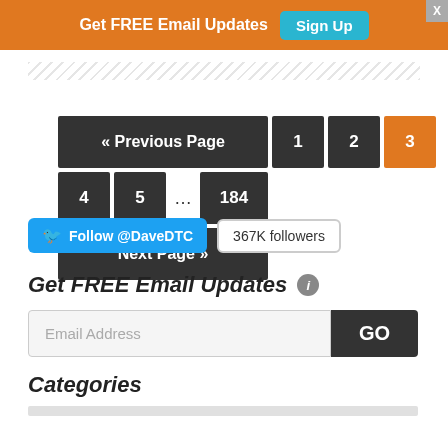[Figure (screenshot): Orange banner with 'Get FREE Email Updates' text and a teal 'Sign Up' button, plus an 'X' close button]
[Figure (other): Diagonal hatched divider line]
« Previous Page   1   2   3   4   5   ...   184   Next Page »
[Figure (other): Twitter Follow @DaveDTC button with 367K followers badge]
Get FREE Email Updates
Email Address
Categories